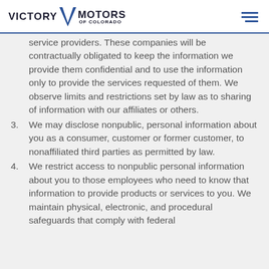VICTORY V MOTORS OF COLORADO
service providers. These companies will be contractually obligated to keep the information we provide them confidential and to use the information only to provide the services requested of them. We observe limits and restrictions set by law as to sharing of information with our affiliates or others.
3. We may disclose nonpublic, personal information about you as a consumer, customer or former customer, to nonaffiliated third parties as permitted by law.
4. We restrict access to nonpublic personal information about you to those employees who need to know that information to provide products or services to you. We maintain physical, electronic, and procedural safeguards that comply with federal